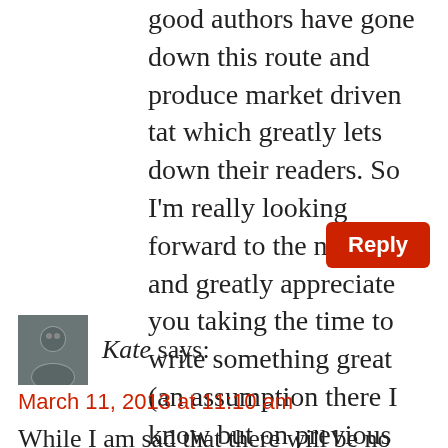good authors have gone down this route and produce market driven tat which greatly lets down their readers. So I'm really looking forward to the next book and greatly appreciate you taking the time to write something great (an assumption there I know but on previous writing I should think guaranteed!).
Reply
Kate says:
March 11, 2013 at 11:10 am
While I am sad that there will be no new book this year (dude, you left us on a freak'n cliffhanger, darn you!! Grrr....Why do you have to be sooooo goood? Gah!), I'm actually glad you are taking your time with it and wanting to tell the best story that you can